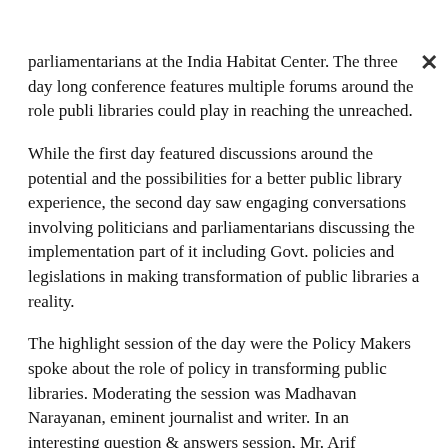parliamentarians at the India Habitat Center. The three day long conference features multiple forums around the role public libraries could play in reaching the unreached.
While the first day featured discussions around the potential and the possibilities for a better public library experience, the second day saw engaging conversations involving politicians and parliamentarians discussing the implementation part of it including Govt. policies and legislations in making transformation of public libraries a reality.
The highlight session of the day were the Policy Makers spoke about the role of policy in transforming public libraries. Moderating the session was Madhavan Narayanan, eminent journalist and writer. In an interesting question & answers session, Mr. Arif Mohammad Khan, Former Cabinet Minister, said, “We often talk about making India a knowledge destination. However, it has always been a knowledge